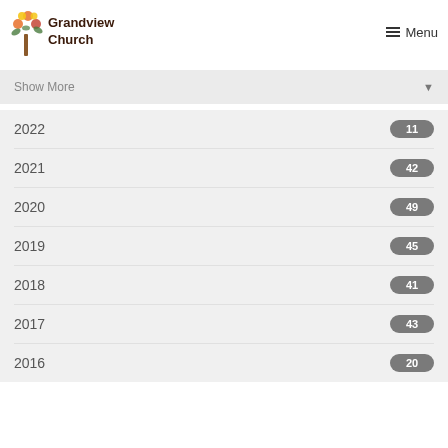Grandview Church | Menu
Show More
2022  11
2021  42
2020  49
2019  45
2018  41
2017  43
2016  20